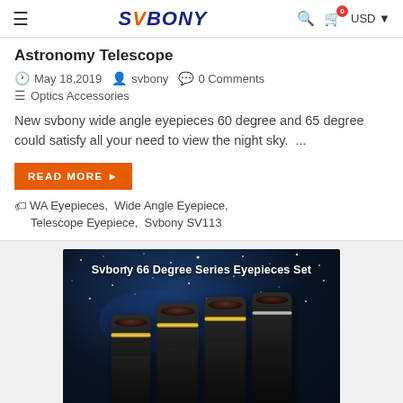SVBONY — search, cart (0), USD
Astronomy Telescope
May 18,2019   svbony   0 Comments   Optics Accessories
New svbony wide angle eyepieces 60 degree and 65 degree could satisfy all your need to view the night sky.  ...
READ MORE ▶   WA Eyepieces,  Wide Angle Eyepiece,  Telescope Eypiece,  Svbony SV113
[Figure (photo): Photo of Svbony 66 Degree Series Eyepieces Set — four black telescope eyepieces with gold rings arranged on a starry night sky background]